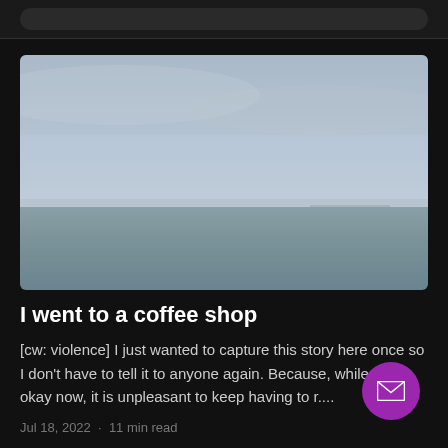[Figure (photo): A calm ocean scene under a grey overcast sky. The horizon divides the composition roughly in the lower third with grey-blue sea below and pale grey sky above.]
I went to a coffee shop
[cw: violence] I just wanted to capture this story here once so I don't have to tell it to anyone again. Because, while I am okay now, it is unpleasant to keep having to r....
Jul 18, 2022 · 11 min read